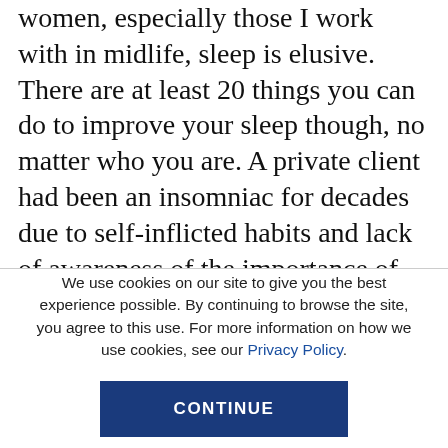women, especially those I work with in midlife, sleep is elusive. There are at least 20 things you can do to improve your sleep though, no matter who you are. A private client had been an insomniac for decades due to self-inflicted habits and lack of awareness of the importance of sleep. As a result, she was unable to make progress toward her health and fitness goals even though she was doing everything else correctly. Now in her sixties, after decades of dealing with insomnia, she's sleeping longer and deeper than ever
We use cookies on our site to give you the best experience possible. By continuing to browse the site, you agree to this use. For more information on how we use cookies, see our Privacy Policy.
CONTINUE